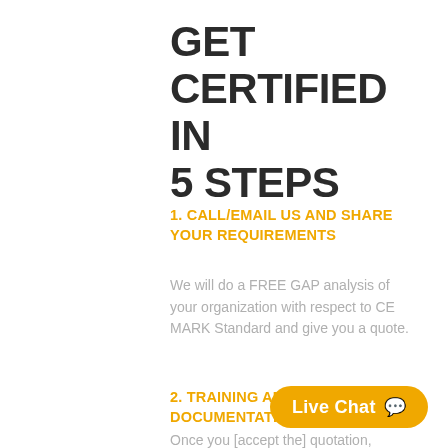GET CERTIFIED IN 5 STEPS
1. CALL/EMAIL US AND SHARE YOUR REQUIREMENTS
We will do a FREE GAP analysis of your organization with respect to CE MARK Standard and give you a quote.
2. TRAINING AND DOCUMENTATION
Once you [accept the] quotation,